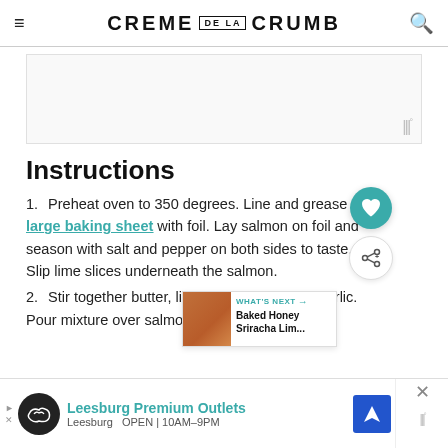CREME DE LA CRUMB
[Figure (other): Advertisement placeholder area with watermark]
Instructions
Preheat oven to 350 degrees. Line and grease a large baking sheet with foil. Lay salmon on foil and season with salt and pepper on both sides to taste. Slip lime slices underneath the salmon.
Stir together butter, lime juice, honey, and garlic. Pour mixture over salmon. Fold sides...
[Figure (other): What's Next widget showing Baked Honey Sriracha Lim... thumbnail and label]
Leesburg Premium Outlets — Leesburg OPEN 10AM-9PM (advertisement banner)